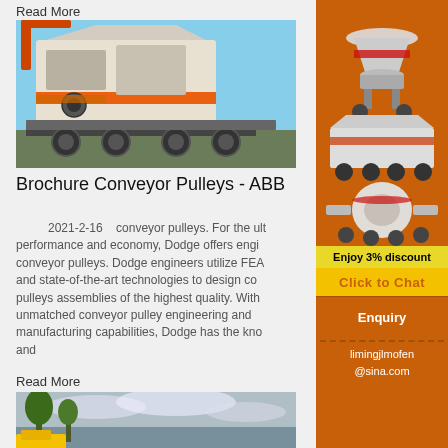Read More
[Figure (photo): Large orange and white mobile crushing/screening machine on wheeled trailer chassis, photographed outdoors against blue sky]
Brochure Conveyor Pulleys - ABB
2021-2-16  conveyor pulleys. For the ultimate performance and economy, Dodge offers engineered conveyor pulleys. Dodge engineers utilize FEA and state-of-the-art technologies to design conveyor pulleys assemblies of the highest quality. With unmatched conveyor pulley engineering and manufacturing capabilities, Dodge has the kno... and
Read More
[Figure (photo): Outdoor scene with trees and cloudy sky, partial view of yellow vehicle]
[Figure (photo): Sidebar advertisement showing multiple mining/crushing machines on orange background with discount offer and contact information]
Enjoy 3% discount
Click to Chat
Enquiry
limingjlmofen@sina.com